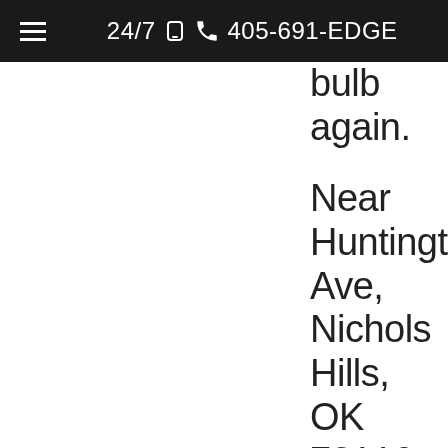24/7 📞 405-691-EDGE
bulb again.
Near Huntington Ave, Nichols Hills, OK 73116